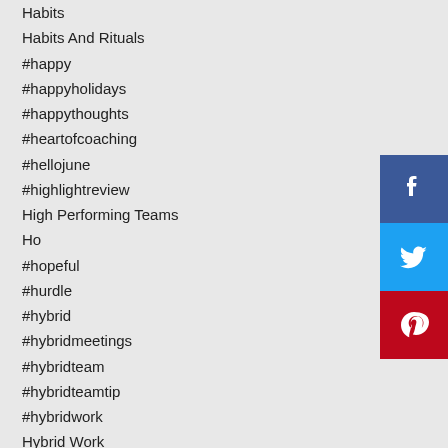Habits
Habits And Rituals
#happy
#happyholidays
#happythoughts
#heartofcoaching
#hellojune
#highlightreview
High Performing Teams
Ho
#hopeful
#hurdle
#hybrid
#hybridmeetings
#hybridteam
#hybridteamtip
#hybridwork
Hybrid Work
#hybridworkenvironment
#hybridworkingtips